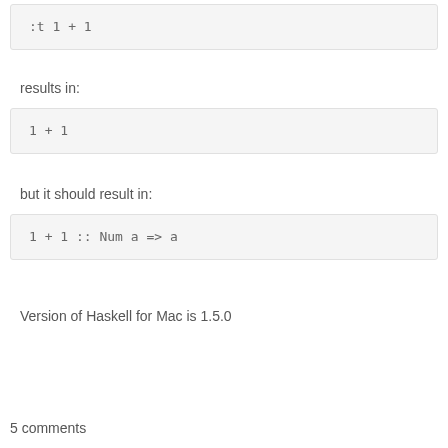:t 1 + 1
results in:
1 + 1
but it should result in:
1 + 1 :: Num a => a
Version of Haskell for Mac is 1.5.0
5 comments